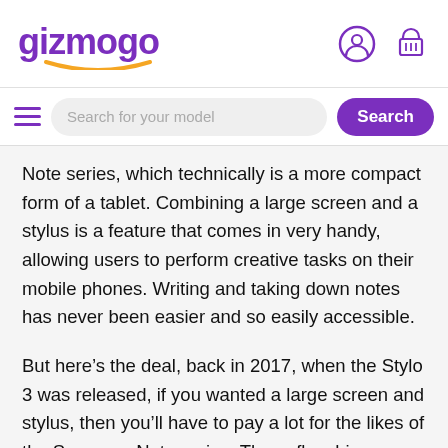gizmogo
Note series, which technically is a more compact form of a tablet. Combining a large screen and a stylus is a feature that comes in very handy, allowing users to perform creative tasks on their mobile phones. Writing and taking down notes has never been easier and so easily accessible.
But here’s the deal, back in 2017, when the Stylo 3 was released, if you wanted a large screen and stylus, then you’ll have to pay a lot for the likes of the Samsung Note series. These flagship devices limited this feature to the high spenders. What LG did in the Stylus 3 is